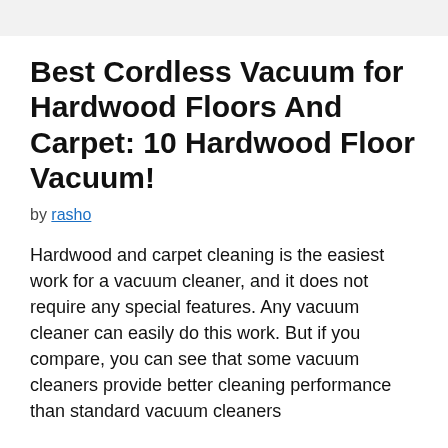Best Cordless Vacuum for Hardwood Floors And Carpet: 10 Hardwood Floor Vacuum!
by rasho
Hardwood and carpet cleaning is the easiest work for a vacuum cleaner, and it does not require any special features. Any vacuum cleaner can easily do this work. But if you compare, you can see that some vacuum cleaners provide better cleaning performance than standard vacuum cleaners